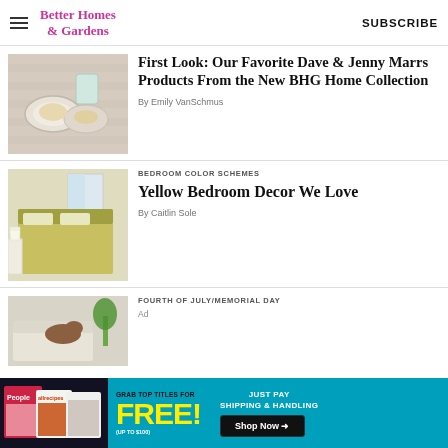Better Homes & Gardens | SUBSCRIBE
[Figure (photo): Table setting with plates, glasses and bread on a striped tablecloth]
First Look: Our Favorite Dave & Jenny Marrs Products From the New BHG Home Collection
By Emily VanSchmus
BEDROOM COLOR SCHEMES
[Figure (photo): Yellow bedroom with bed, yellow bedspread, white nightstands and lamps]
Yellow Bedroom Decor We Love
By Caitlin Sole
FOURTH OF JULY/MEMORIAL DAY
[Figure (photo): Outdoor or living space scene partially visible]
[Figure (screenshot): Advertisement banner: Grab Top Titles for FREE (up to $100) Just Pay Shipping & Handling Shop Now arrow]